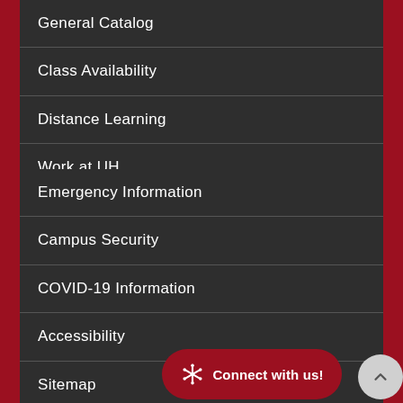General Catalog
Class Availability
Distance Learning
Work at UH
Emergency Information
Campus Security
COVID-19 Information
Accessibility
Sitemap
FAQs
Connect with us!